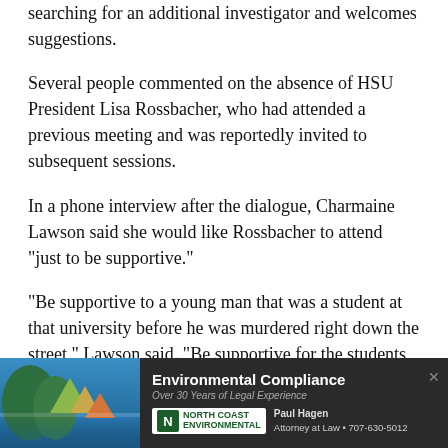searching for an additional investigator and welcomes suggestions.
Several people commented on the absence of HSU President Lisa Rossbacher, who had attended a previous meeting and was reportedly invited to subsequent sessions.
In a phone interview after the dialogue, Charmaine Lawson said she would like Rossbacher to attend "just to be supportive."
"Be supportive to a young man that was a student at that university before he was murdered right down the street," Lawson said. "Be supportive for the students of color, be supportive of the community. This is something she
[Figure (advertisement): North Coast Environmental Compliance advertisement with Paul Hagen, Attorney at Law, 707-630-5012. Over 30 Years of Legal Experience.]